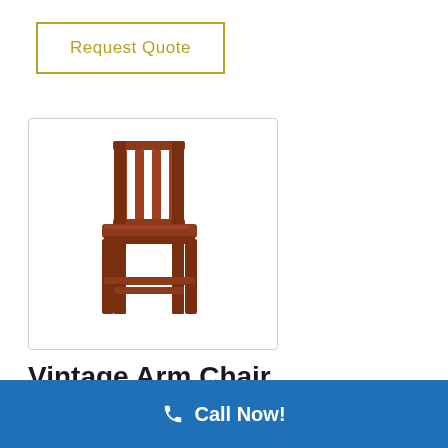Request Quote
[Figure (photo): A wooden vintage mission-style bar/counter chair with vertical slat back, solid wood seat, and footrest rungs, photographed on white background.]
Vintage Arm Chair and Side Chair
Call Now!